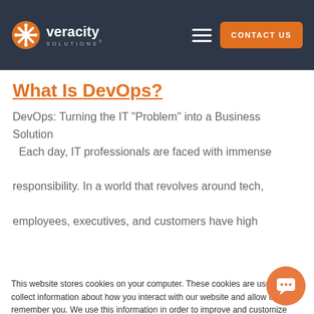[Figure (logo): Veracity Solutions logo with orange snowflake icon and white text on dark background]
CONTACT US
What Is DevOps?
DevOps: Turning the IT "Problem" into a Business Solution Each day, IT professionals are faced with immense responsibility. In a world that revolves around tech, employees, executives, and customers have high
This website stores cookies on your computer. These cookies are used to collect information about how you interact with our website and allow us to remember you. We use this information in order to improve and customize your browsing experience and for analytics and metrics ab our visitors both on this website and other media. To f our Privacy Policy.
If you decline, your i when you visit this w used in your browse not to be tracked.
Hey! Have a question? I'm glad to help.
[Figure (other): Accept and Decline cookie consent buttons]
[Figure (other): Orange circular chat button icon at bottom right]